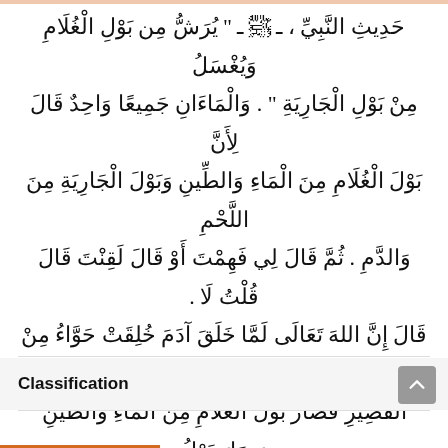حَدِيثِ النَّبِيِّ ، ـ ﷺ ـ " يُرَشُّ مِن بَوْلِ الْغُلامَ وَيُغْسَلُ مِنْ بَوْلِ الْجَارِيَةِ " . وَالْمَاءَانِ جَمِيعًا وَاحِدٌ قَالَ لِأَنَّ بَوْلَ الْغُلَامِ مِنَ الْمَاءِ وَالطِّينِ وَبَوْلَ الْجَارِيَةِ مِنَ اللَّحْمِ وَالدَّمِ . ثُمَّ قَالَ لِي فَهِمْتَ أَوْ قَالَ لَقِنْتَ قَالَ قُلْتُ لَا . قَالَ إِنَّ اللهَ تَعَالَى لَمَّا خَلَقَ آدَمَ خُلِقَتْ حَوَّاءُ مِنْ ضِلَعِهِ الْقَصِيرِ فَصَارَ بَوْلُ الْغُلَامِ مِنَ الْمَاءِ وَالطِّينِ وَصَارَ بَوْلُ الْجَارِيَةِ مِنَ اللَّحْمِ وَالدَّمِ . قَالَ قَالَ لِي فَهِمْتَ قُلْتُ نَعَمْ . قَالَ لِي نَفَعَكَ اللَّهُ بِه .
Classification